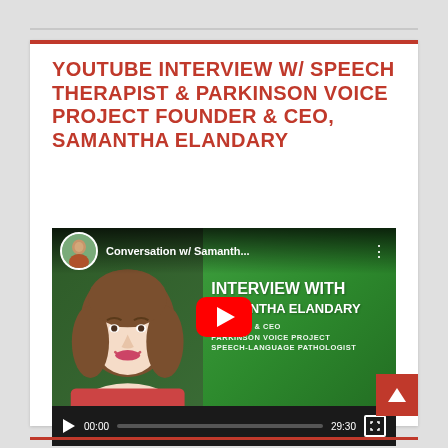YOUTUBE INTERVIEW W/ SPEECH THERAPIST & PARKINSON VOICE PROJECT FOUNDER & CEO, SAMANTHA ELANDARY
[Figure (screenshot): YouTube video embed showing an interview titled 'Conversation w/ Samantha...' featuring a woman (Samantha Elandary) and text 'INTERVIEW WITH SAMANTHA ELANDARY', 'FOUNDER & CEO PARKINSON VOICE PROJECT SPEECH-LANGUAGE PATHOLOGIST'. Video shows timestamp 00:00 / 29:30 with a red play button overlay.]